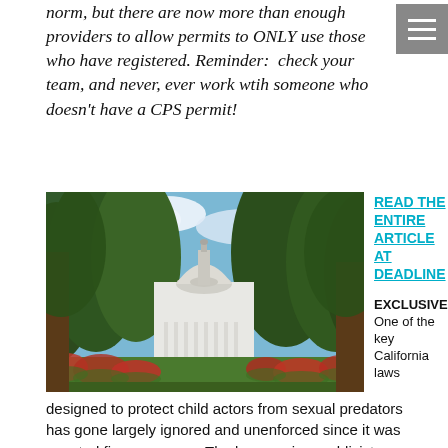norm, but there are now more than enough providers to allow permits to ONLY use those who have registered. Reminder: check your team, and never, ever work wtih someone who doesn't have a CPS permit!
[Figure (photo): Photograph of the California State Capitol building with trees and red flowers in the foreground, blue sky with clouds in the background.]
READ THE ENTIRE ARTICLE AT DEADLINE
EXCLUSIVE: One of the key California laws designed to protect child actors from sexual predators has gone largely ignored and unenforced since it was enacted five years ago. The law requires publicists, managers, acting coaches and headshot photographers who work with child actors to be fingerprinted and pass an FBI background check